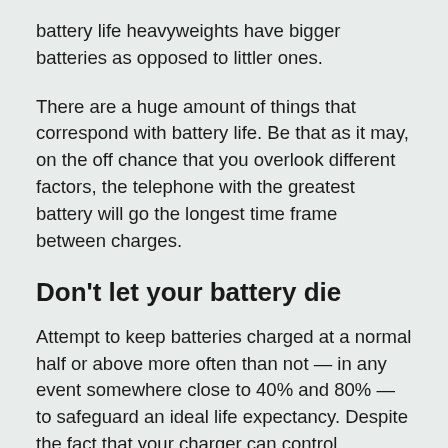battery life heavyweights have bigger batteries as opposed to littler ones.
There are a huge amount of things that correspond with battery life. Be that as it may, on the off chance that you overlook different factors, the telephone with the greatest battery will go the longest time frame between charges.
Don't let your battery die
Attempt to keep batteries charged at a normal half or above more often than not — in any event somewhere close to 40% and 80% — to safeguard an ideal life expectancy. Despite the fact that your charger can control electronic contribution to forestall harm, you ought to unplug the telephone